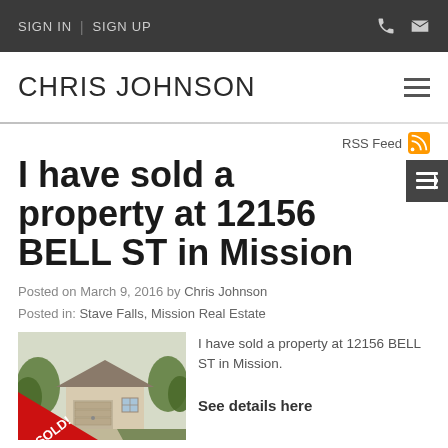SIGN IN | SIGN UP
CHRIS JOHNSON
RSS Feed
I have sold a property at 12156 BELL ST in Mission
Posted on March 9, 2016 by Chris Johnson
Posted in: Stave Falls, Mission Real Estate
[Figure (photo): Property photo with red SOLD! ribbon diagonal banner across the bottom-left corner. Shows a house with garage door surrounded by trees.]
I have sold a property at 12156 BELL ST in Mission.
See details here